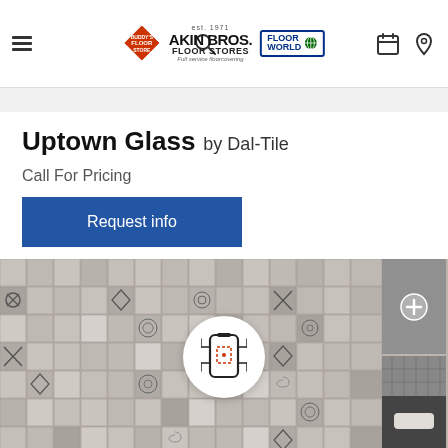Akin Bros. Floor Stores - Navigation Header
Uptown Glass by Dal-Tile
Call For Pricing
Request info
[Figure (photo): Mosaic tile grid showing Uptown Glass pattern — a mix of decorative and plain glass tiles in grey, taupe, and beige tones. A circular AR/phone scan icon overlay is visible in the center. Two thumbnail images on the right show a zoom view and a bathroom scene.]